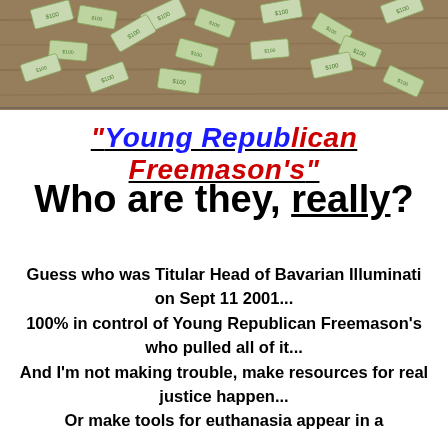[Figure (photo): Top banner photo of scattered paper money/dollar bills on a wooden surface]
"Young Republican Freemason's"
Who are they, really?
Guess who was Titular Head of Bavarian Illuminati on Sept 11 2001... 100% in control of Young Republican Freemason's who pulled all of it... And I'm not making trouble, make resources for real justice happen... Or make tools for euthanasia appear in a